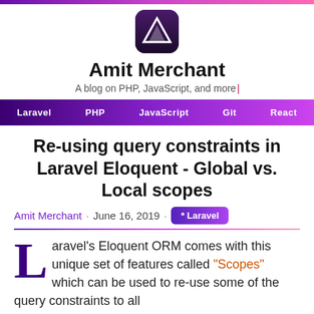[Figure (logo): Amit Merchant blog logo — purple mountain/peak icon with dark background, rounded square shape]
Amit Merchant
A blog on PHP, JavaScript, and more
Laravel  PHP  JavaScript  Git  React
Re-using query constraints in Laravel Eloquent - Global vs. Local scopes
Amit Merchant · June 16, 2019 · * Laravel
Laravel's Eloquent ORM comes with this unique set of features called "Scopes" which can be used to re-use some of the query constraints to all